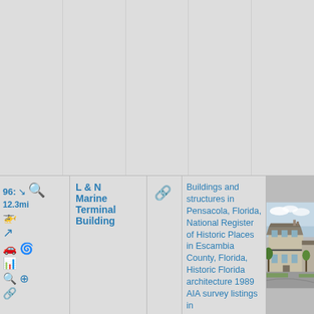[Figure (screenshot): Top portion of a map/directory grid interface with 5 columns and gray background, showing blank grid cells.]
96: ↘ 12.3mi
L & N Marine Terminal Building
🔗
Buildings and structures in Pensacola, Florida, National Register of Historic Places in Escambia County, Florida, Historic Florida architecture 1989 AIA survey listings in
[Figure (photo): Photograph of L & N Marine Terminal Building, a historic two-story building with balcony and ornate details, surrounded by trees and a curved road.]